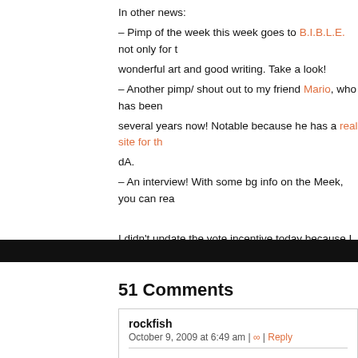In other news:
– Pimp of the week this week goes to B.I.B.L.E. not only for t… wonderful art and good writing. Take a look!
– Another pimp/ shout out to my friend Mario, who has been… several years now! Notable because he has a real site for th… dA.
– An interview! With some bg info on the Meek, you can rea…

I didn't update the vote incentive today because I am late as… to see the lines for this page that I put up yesterday. Thanks…
51 Comments
rockfish
October 9, 2009 at 6:49 am | ∞ | Reply

I think it looks beautiful, the darkness kind of gives me a s… the inside of the palace. Ah, Suda, be careful not to get pe… rigid Luca is with everything, he's the emperor of his fami…